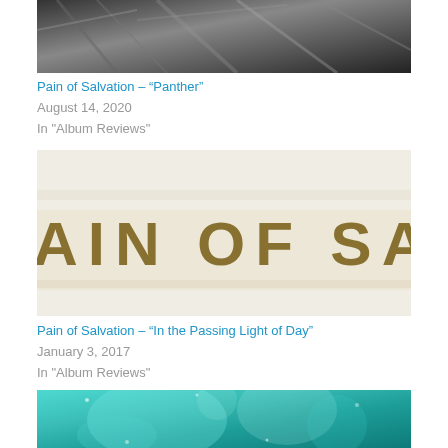[Figure (photo): Black and white image, partial view at top of page — appears to be an animal or abstract dark fur/feather texture]
Pain of Salvation – “Panther”
August 14, 2020
In "Album Reviews"
[Figure (photo): Album artwork for Pain of Salvation showing the band name in large distressed dark golden/olive lettering on a light background: PAIN OF SALVATION]
Pain of Salvation – “In the Passing Light of Day”
January 3, 2017
In "Album Reviews"
[Figure (photo): Teal/aqua toned album artwork with swirling cosmic or underwater imagery, partially visible at bottom of page]